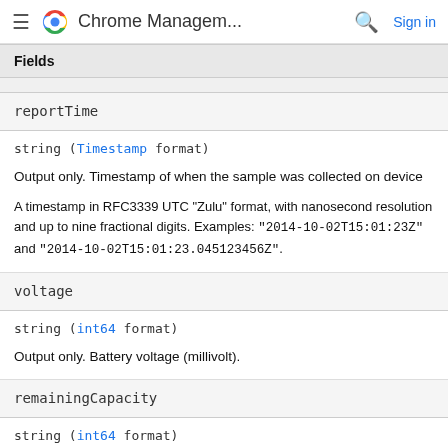Chrome Management...
| Fields |
| --- |
| reportTime |
| string (Timestamp format)

Output only. Timestamp of when the sample was collected on device

A timestamp in RFC3339 UTC "Zulu" format, with nanosecond resolution and up to nine fractional digits. Examples: "2014-10-02T15:01:23Z" and "2014-10-02T15:01:23.045123456Z". |
| voltage |
| string (int64 format)

Output only. Battery voltage (millivolt). |
| remainingCapacity |
| string (int64 format) |